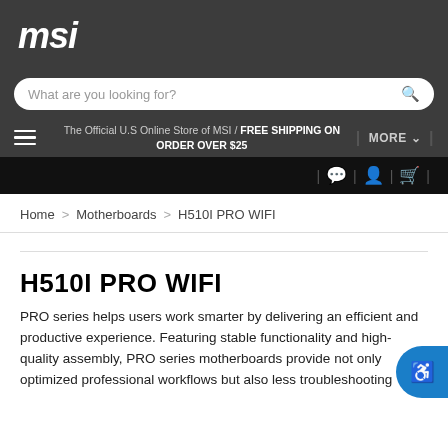msi
What are you looking for?
The Official U.S Online Store of MSI / FREE SHIPPING ON ORDER OVER $25
MORE
Home > Motherboards > H510I PRO WIFI
H510I PRO WIFI
PRO series helps users work smarter by delivering an efficient and productive experience. Featuring stable functionality and high-quality assembly, PRO series motherboards provide not only optimized professional workflows but also less troubleshooting